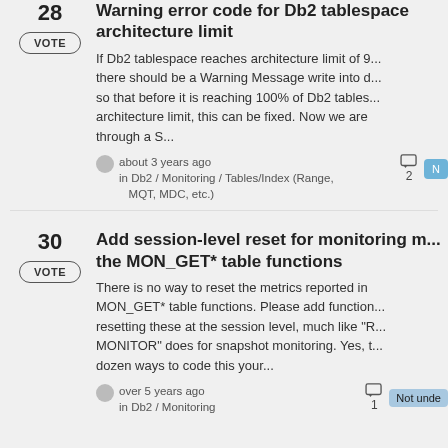28
VOTE
Warning error code for Db2 tablespace architecture limit
If Db2 tablespace reaches architecture limit of 9... there should be a Warning Message write into d... so that before it is reaching 100% of Db2 tables... architecture limit, this can be fixed. Now we are through a S...
about 3 years ago
in Db2 / Monitoring / Tables/Index (Range, MQT, MDC, etc.)
2
30
VOTE
Add session-level reset for monitoring m... the MON_GET* table functions
There is no way to reset the metrics reported in MON_GET* table functions. Please add function... resetting these at the session level, much like "R... MONITOR" does for snapshot monitoring. Yes, t... dozen ways to code this your...
over 5 years ago
in Db2 / Monitoring
1
Not unde